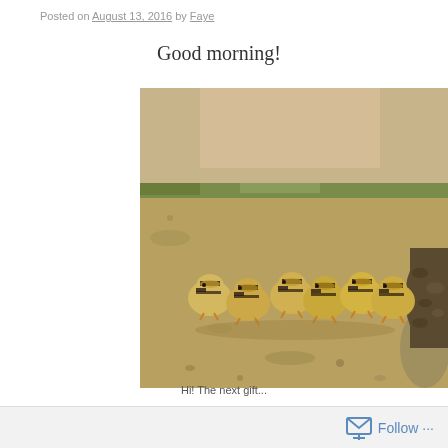Posted on August 13, 2016 by Faye
Good morning!
[Figure (photo): A group of mallard ducklings walking on sandy ground toward a mother duck, photographed outdoors in natural daylight.]
Hi! The next gift...
Follow ...